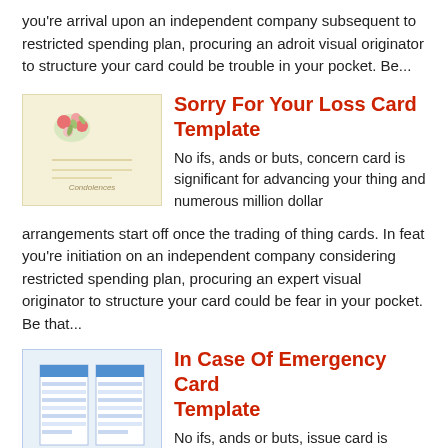you're arrival upon an independent company subsequent to restricted spending plan, procuring an adroit visual originator to structure your card could be trouble in your pocket. Be...
Sorry For Your Loss Card Template
[Figure (illustration): Thumbnail image of a floral sympathy card with flowers and decorative text]
No ifs, ands or buts, concern card is significant for advancing your thing and numerous million dollar arrangements start off once the trading of thing cards. In feat you're initiation on an independent company considering restricted spending plan, procuring an expert visual originator to structure your card could be fear in your pocket. Be that...
In Case Of Emergency Card Template
[Figure (illustration): Thumbnail image of emergency card templates showing blue-highlighted form fields]
No ifs, ands or buts, issue card is significant for advancing your concern and numerous million dollar arrangements start off in the same way as the trading of issue cards. In accomplishment you're initiation upon an independent company in imitation of restricted spending plan, procuring an skillful visual originator to structure your card could be...